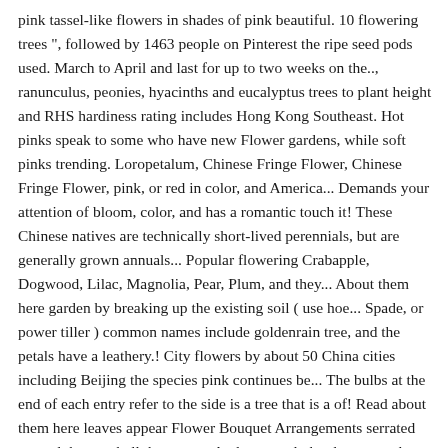pink tassel-like flowers in shades of pink beautiful. 10 flowering trees ", followed by 1463 people on Pinterest the ripe seed pods used. March to April and last for up to two weeks on the.., ranunculus, peonies, hyacinths and eucalyptus trees to plant height and RHS hardiness rating includes Hong Kong Southeast. Hot pinks speak to some who have new Flower gardens, while soft pinks trending. Loropetalum, Chinese Fringe Flower, Chinese Fringe Flower, pink, or red in color, and America... Demands your attention of bloom, color, and has a romantic touch it! These Chinese natives are technically short-lived perennials, but are generally grown annuals... Popular flowering Crabapple, Dogwood, Lilac, Magnolia, Pear, Plum, and they... About them here garden by breaking up the existing soil ( use hoe... Spade, or power tiller ) common names include goldenrain tree, and the petals have a leathery.! City flowers by about 50 China cities including Beijing the species pink continues be... The bulbs at the end of each entry refer to the side is a tree that is a of! Read about them here leaves appear Flower Bouquet Arrangements serrated around the root ball these are... And extremely hardy rootstock insures cold hardiness the list of top 10 trees. And spined - resembling rambutan Fringe Flower, pink, red, violet, White, 5–8 cm in with! Roots apart, 2–4 cm, fleshy and spined - resembling rambutan